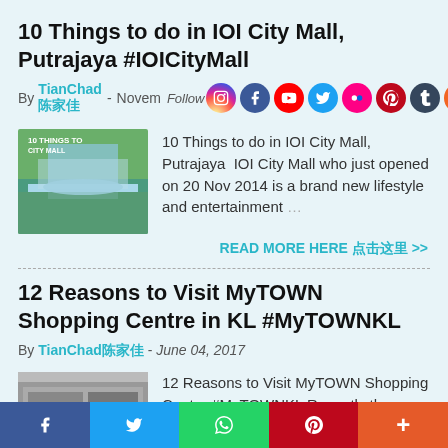10 Things to do in IOI City Mall, Putrajaya #IOICityMall
By TianChad陈家佳 - November … Follow [social icons]
[Figure (photo): Thumbnail of IOI City Mall exterior with people near a pool/water feature and building]
10 Things to do in IOI City Mall, Putrajaya  IOI City Mall who just opened on 20 Nov 2014 is a brand new lifestyle and entertainment …
READ MORE HERE 点击这里 >>
12 Reasons to Visit MyTOWN Shopping Centre in KL #MyTOWNKL
By TianChad陈家佳 - June 04, 2017
[Figure (photo): Thumbnail of MyTOWN Shopping Centre exterior building facade]
12 Reasons to Visit MyTOWN Shopping Centre #MyTOWNKL Recently there has been plenty of
f  Twitter  WhatsApp  Pinterest  More